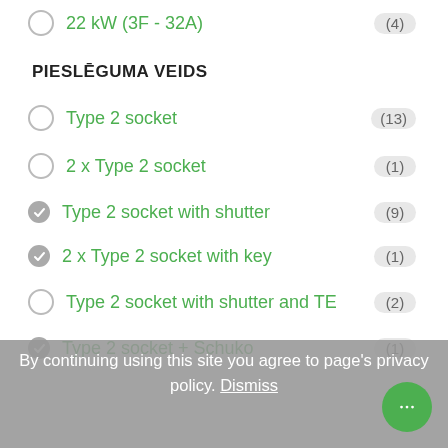22 kW (3F - 32A) (4)
PIESLĒGUMA VEIDS
Type 2 socket (13)
2 x Type 2 socket (1)
Type 2 socket with shutter (9)
2 x Type 2 socket with key (1)
Type 2 socket with shutter and TE (2)
Type 2 socket + Schuko (1)
Type 2 cable
Type 1 cable
By continuing using this site you agree to page's privacy policy. Dismiss